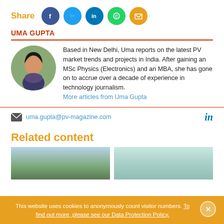Share [social icons: Facebook, Twitter, LinkedIn, WhatsApp, Email]
UMA GUPTA
[Figure (photo): Circular headshot photo of Uma Gupta]
Based in New Delhi, Uma reports on the latest PV market trends and projects in India. After gaining an MSc Physics (Electronics) and an MBA, she has gone on to accrue over a decade of experience in technology journalism. More articles from Uma Gupta
uma.gupta@pv-magazine.com
Related content
[Figure (photo): Landscape thumbnail image with field and tree]
[Figure (photo): Landscape thumbnail image with pale sky]
This website uses cookies to anonymously count visitor numbers. To find out more, please see our Data Protection Policy.